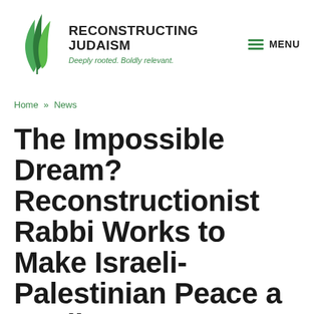[Figure (logo): Reconstructing Judaism logo with plant/leaf SVG graphic and tagline 'Deeply rooted. Boldly relevant.']
MENU
Home » News
The Impossible Dream? Reconstructionist Rabbi Works to Make Israeli-Palestinian Peace a Reality